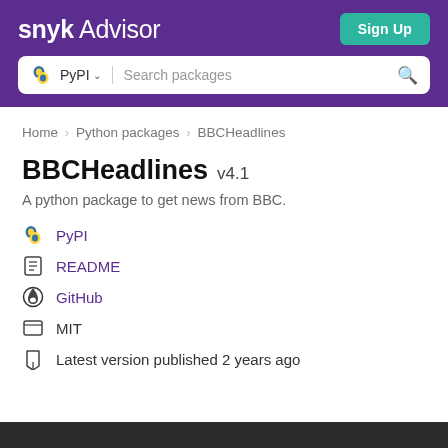snyk Advisor
PyPI  Search packages
Home > Python packages > BBCHeadlines
BBCHeadlines v4.1
A python package to get news from BBC.
PyPI
README
GitHub
MIT
Latest version published 2 years ago